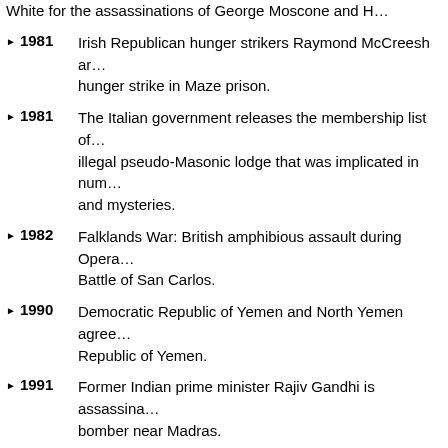White for the assassinations of George Moscone and H…
Irish Republican hunger strikers Raymond McCreesh ar… hunger strike in Maze prison.
The Italian government releases the membership list of… illegal pseudo-Masonic lodge that was implicated in num… and mysteries.
Falklands War: British amphibious assault during Opera… Battle of San Carlos.
Democratic Republic of Yemen and North Yemen agree… Republic of Yemen.
Former Indian prime minister Rajiv Gandhi is assassina… bomber near Madras.
Mengistu Haile Mariam, president of the People's Demo… Ethiopia, flees Ethiopia, effectively bringing the Ethiopia…
The Democratic Republic of Yemen unsuccessful attem… Republic of Yemen's war breaks out.